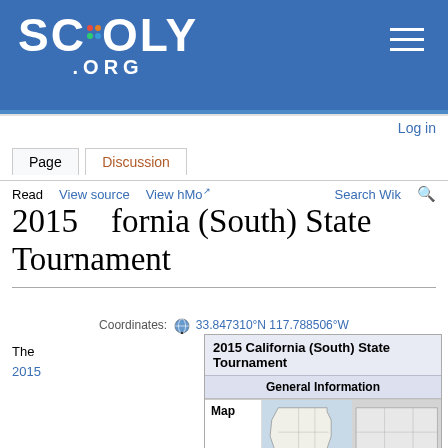[Figure (logo): Scioly.org logo with rainbow dots and hamburger menu on blue header bar]
Log in
Page | Discussion
Read | View source | View history | More | Search Wiki
2015 California (South) State Tournament
Coordinates: 33.847310°N 117.788506°W
The 2015
[Figure (map): Infobox for 2015 California (South) State Tournament showing General Information section with a map of California (western US states map)]